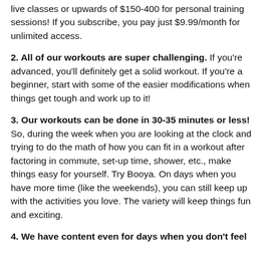live classes or upwards of $150-400 for personal training sessions! If you subscribe, you pay just $9.99/month for unlimited access.
2. All of our workouts are super challenging. If you’re advanced, you’ll definitely get a solid workout. If you’re a beginner, start with some of the easier modifications when things get tough and work up to it!
3. Our workouts can be done in 30-35 minutes or less! So, during the week when you are looking at the clock and trying to do the math of how you can fit in a workout after factoring in commute, set-up time, shower, etc., make things easy for yourself. Try Booya. On days when you have more time (like the weekends), you can still keep up with the activities you love. The variety will keep things fun and exciting.
4. We have content even for days when you don’t feel